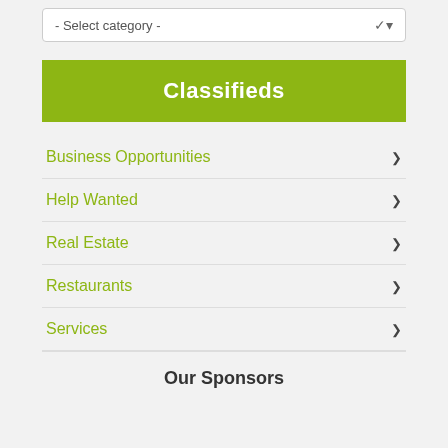[Figure (screenshot): Dropdown select box with text '- Select category -' and a down chevron arrow]
Classifieds
Business Opportunities
Help Wanted
Real Estate
Restaurants
Services
Our Sponsors